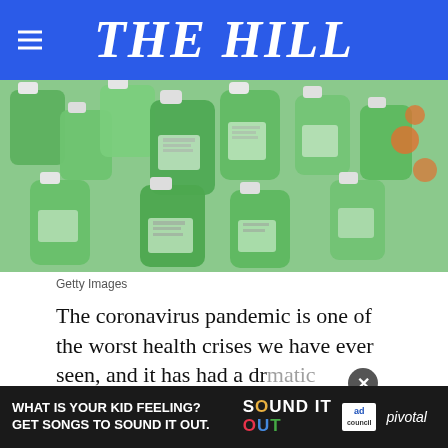THE HILL
[Figure (photo): Multiple small green hand sanitizer bottles piled together, with white caps, showing labels and barcodes]
Getty Images
The coronavirus pandemic is one of the worst health crises we have ever seen, and it has had a dramatic impact on our everyday lives. As an American, I am grateful for President Trump and his administration ... have
[Figure (infographic): Advertisement banner: WHAT IS YOUR KID FEELING? GET SONGS TO SOUND IT OUT. Sound It Out logo, ad council logo, pivotal logo. Close button (x).]